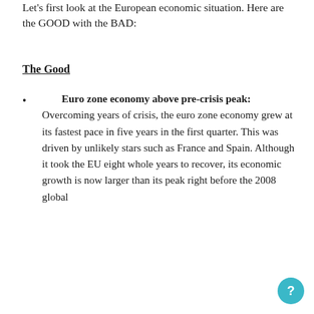Let's first look at the European economic situation. Here are the GOOD with the BAD:
The Good
Euro zone economy above pre-crisis peak: Overcoming years of crisis, the euro zone economy grew at its fastest pace in five years in the first quarter. This was driven by unlikely stars such as France and Spain. Although it took the EU eight whole years to recover, its economic growth is now larger than its peak right before the 2008 global